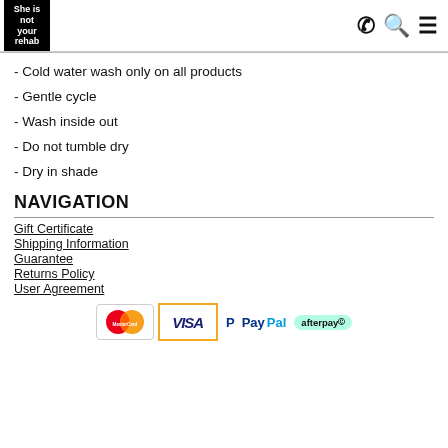She is not your rehab
- Cold water wash only on all products
- Gentle cycle
- Wash inside out
- Do not tumble dry
- Dry in shade
NAVIGATION
Gift Certificate
Shipping Information
Guarantee
Returns Policy
User Agreement
[Figure (logo): Payment method logos: MasterCard, Visa, PayPal, Afterpay]